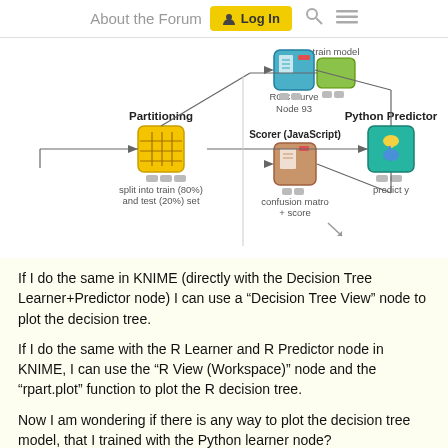About the Forum  Log In
[Figure (screenshot): KNIME workflow diagram showing nodes: Partitioning (split into train 80% and test 20% set), train model, Python Predictor (predict y), ROC Curve (Node 93), and Scorer (JavaScript) (confusion matrix + score), connected by arrows.]
If I do the same in KNIME (directly with the Decision Tree Learner+Predictor node) I can use a “Decision Tree View” node to plot the decision tree.
If I do the same with the R Learner and R Predictor node in KNIME, I can use the “R View (Workspace)” node and the “rpart.plot” function to plot the R decision tree.
Now I am wondering if there is any way to plot the decision tree model, that I trained with the Python learner node?